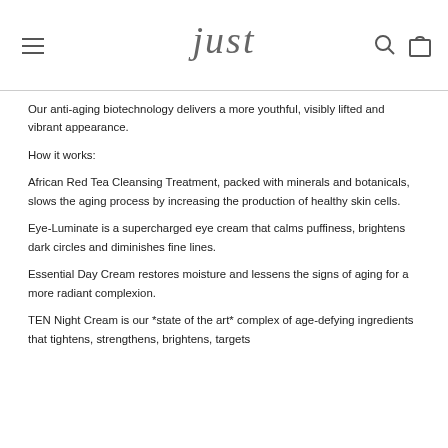just
Our anti-aging biotechnology delivers a more youthful, visibly lifted and vibrant appearance.
How it works:
African Red Tea Cleansing Treatment, packed with minerals and botanicals, slows the aging process by increasing the production of healthy skin cells.
Eye-Luminate is a supercharged eye cream that calms puffiness, brightens dark circles and diminishes fine lines.
Essential Day Cream restores moisture and lessens the signs of aging for a more radiant complexion.
TEN Night Cream is our *state of the art* complex of age-defying ingredients that tightens, strengthens, brightens, targets